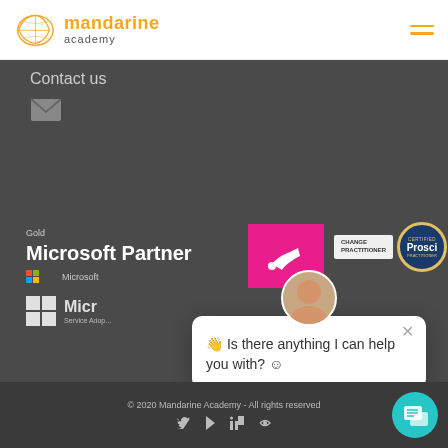[Figure (logo): Mandarine Academy logo with orange mandarin slice icon and orange text]
Contact us
[Figure (illustration): Email envelope icon]
[Figure (logo): Gold Microsoft Partner badge with Microsoft logo]
[Figure (logo): Microsoft Service Adoption specialist logo]
[Figure (logo): Pink banner with white horn/megaphone icon]
[Figure (logo): Prosci Change Practitioner certification badge]
[Figure (screenshot): Chat popup with avatar asking 'Is there anything I can help you with?' with smiley emoji]
© 2020 Mandarine Academy - All rights reserved
[Figure (illustration): Social media icons: Twitter, play/video, LinkedIn, RSS feed]